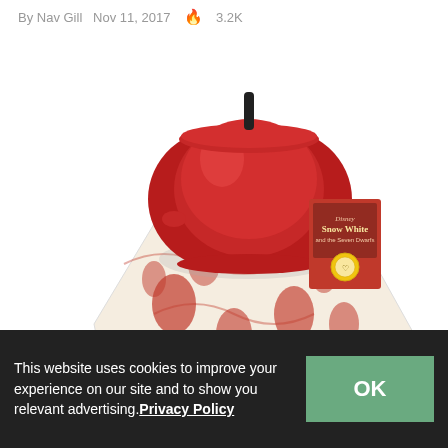By Nav Gill   Nov 11, 2017   🔥  3.2K
[Figure (photo): A red apple-shaped cast iron Dutch oven/cocotte sitting on a Snow White themed kitchen towel with red Disney character prints, alongside a Snow White branded tag/card with a gold charm.]
ART & DESIGN
This website uses cookies to improve your experience on our site and to show you relevant advertising. Privacy Policy